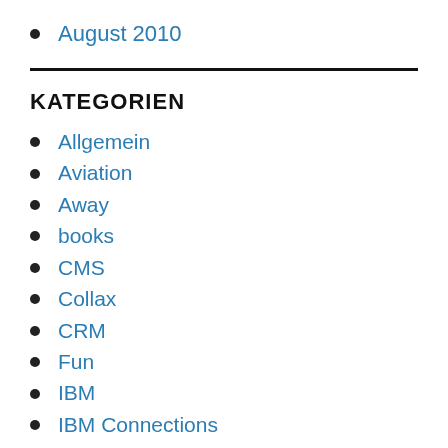August 2010
KATEGORIEN
Allgemein
Aviation
Away
books
CMS
Collax
CRM
Fun
IBM
IBM Connections